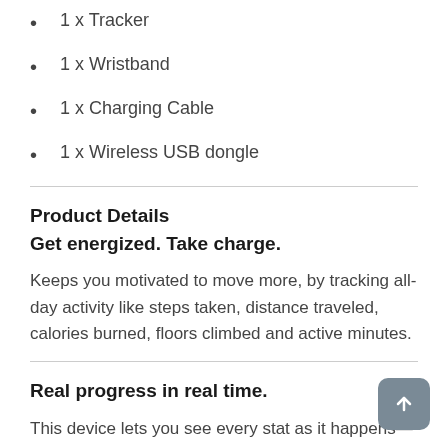1 x Tracker
1 x Wristband
1 x Charging Cable
1 x Wireless USB dongle
Product Details
Get energized. Take charge.
Keeps you motivated to move more, by tracking all-day activity like steps taken, distance traveled, calories burned, floors climbed and active minutes.
Real progress in real time.
This device lets you see every stat as it happens—right on your wrist, with a bright OLED display. And, with an industry-leading